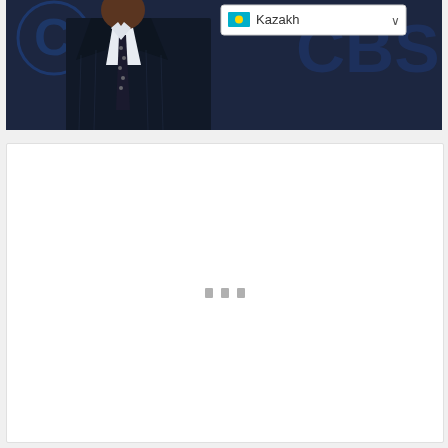[Figure (photo): A man in a dark navy pinstripe suit and dark tie with polka dots, standing in front of a backdrop with a CBS logo. A language selector dropdown showing 'Kazakh' with Kazakhstan flag emoji is overlaid in the upper right of the image.]
[Figure (screenshot): A white content box below the photo, appearing to be a loading state with three small grey rectangular dots/bars in the center, indicating content is loading.]